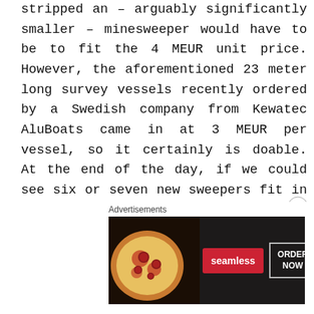stripped an – arguably significantly smaller – minesweeper would have to be to fit the 4 MEUR unit price. However, the aforementioned 23 meter long survey vessels recently ordered by a Swedish company from Kewatec AluBoats came in at 3 MEUR per vessel, so it certainly is doable. At the end of the day, if we could see six or seven new sweepers fit in under the contract while still ensuring that the needed capability is there, I would be rather happy.
[Figure (other): Seamless food delivery advertisement banner with pizza image, Seamless red logo button, and ORDER NOW button on dark background]